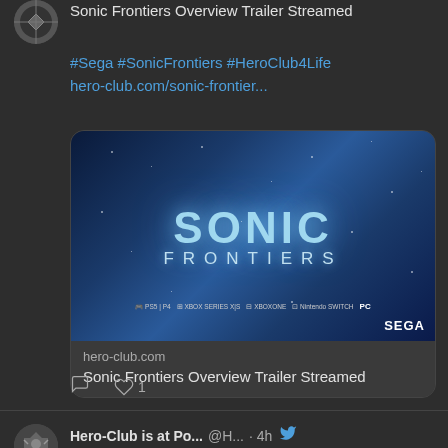Sonic Frontiers Overview Trailer Streamed
#Sega #SonicFrontiers #HeroClub4Life hero-club.com/sonic-frontier...
[Figure (screenshot): Sonic Frontiers game promotional image showing 'SONIC FRONTIERS' title text on a dark blue starfield background, with platform logos (PS5, PS4, Xbox Series X|S, Xbox One, Nintendo Switch, PC) and SEGA branding at bottom]
hero-club.com
Sonic Frontiers Overview Trailer Streamed
♡ 1
Hero-Club is at Po... @H... · 4h
Discovering Power Rangers: Heroes of the Grid